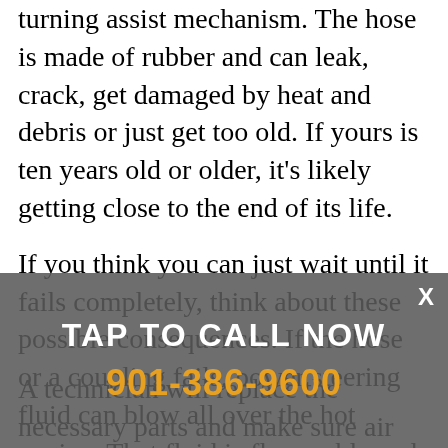turning assist mechanism. The hose is made of rubber and can leak, crack, get damaged by heat and debris or just get too old. If yours is ten years old or older, it's likely getting close to the end of its life.
If you think you can just wait until it fails completely, think about these possible consequences. If the hose or a coupling fails, power steering fluid can blow all over the hot engine. That fluid is flammable and can start a fire. Or if you've been driving for a few weeks with low power steering fluid, that could ruin your power steering pump. Replacing the pump is an extra expense you can probably live without.
A technician will replace the necessary parts and make sure air and contaminants are bled or flushed from the system. Then, he or she will check for leaks. Just think how
[Figure (other): Semi-transparent dark overlay banner with 'TAP TO CALL NOW' in white bold text and phone number '901-386-9600' in orange bold text, with an X close button in the top right corner.]